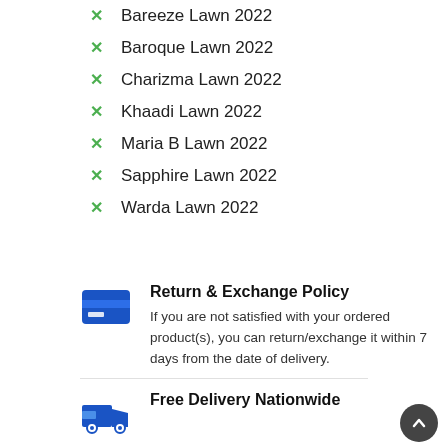Bareeze Lawn 2022
Baroque Lawn 2022
Charizma Lawn 2022
Khaadi Lawn 2022
Maria B Lawn 2022
Sapphire Lawn 2022
Warda Lawn 2022
Return & Exchange Policy
If you are not satisfied with your ordered product(s), you can return/exchange it within 7 days from the date of delivery.
Free Delivery Nationwide